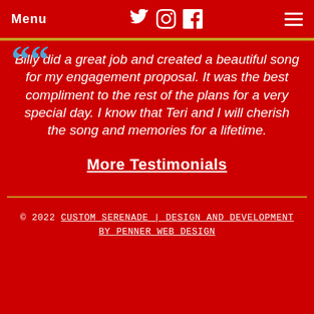Menu  [social icons: Twitter, Instagram, Facebook]  [hamburger menu]
““ Billy did a great job and created a beautiful song for my engagement proposal. It was the best compliment to the rest of the plans for a very special day. I know that Teri and I will cherish the song and memories for a lifetime.
More Testimonials
© 2022 CUSTOM SERENADE | DESIGN AND DEVELOPMENT BY PENNER WEB DESIGN